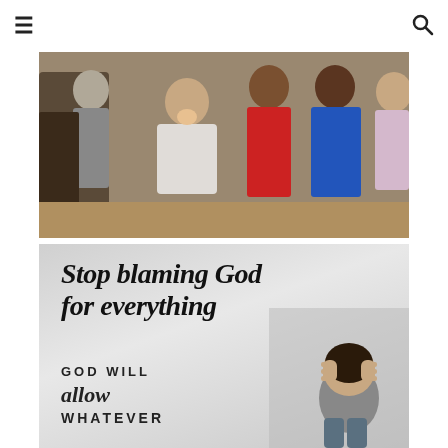Navigation bar with hamburger menu and search icon
[Figure (photo): Group photo of several people standing together. A woman in a white t-shirt is seated in the center smiling. Others around her are standing, wearing colorful clothing including red and blue shirts.]
[Figure (infographic): Inspirational quote card on gray background with text: 'Stop blaming God for everything' in large italic bold font, followed by 'GOD WILL allow WHATEVER' in mixed serif italic and uppercase sans-serif text. A person with head in hands is visible in the lower right corner.]